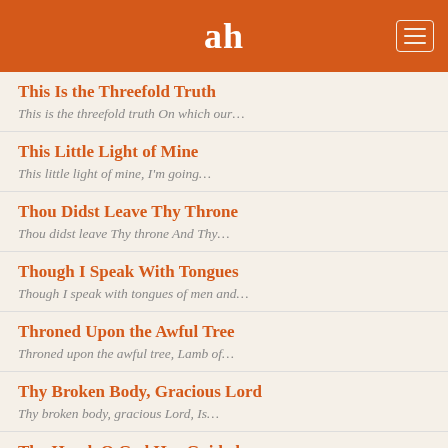ah
This Is the Threefold Truth
This is the threefold truth On which our...
This Little Light of Mine
This little light of mine, I'm going...
Thou Didst Leave Thy Throne
Thou didst leave Thy throne And Thy...
Though I Speak With Tongues
Though I speak with tongues of men and...
Throned Upon the Awful Tree
Throned upon the awful tree, Lamb of...
Thy Broken Body, Gracious Lord
Thy broken body, gracious Lord, Is...
Thy Hand, O God Has Guided